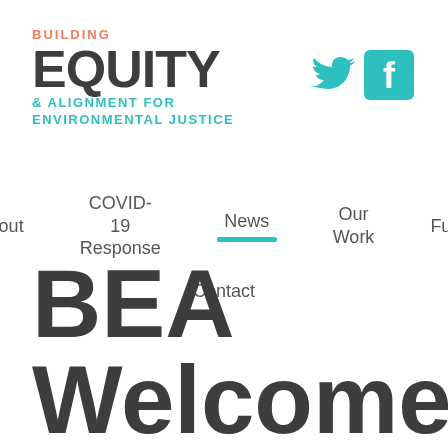[Figure (logo): Building Equity & Alignment for Environmental Justice logo with 'BUILDING' in salmon/coral, 'EQUITY' in large dark gray bold, '& ALIGNMENT FOR ENVIRONMENTAL JUSTICE' in teal]
[Figure (logo): Twitter bird icon in teal and Facebook 'f' icon in teal]
About | COVID-19 Response | News | Our Work | Fund | Contact
BEA Welcomes